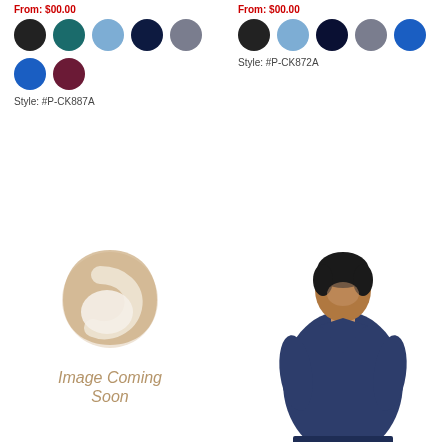From: $00.00
[Figure (illustration): Color swatches grid for style P-CK887A: black, teal, light blue, navy, grey, royal blue, burgundy]
Style: #P-CK887A
From: $00.00
[Figure (illustration): Color swatches grid for style P-CK872A: black, light blue, navy, grey, royal blue]
Style: #P-CK872A
[Figure (illustration): Image Coming Soon placeholder with teardrop/swirl icon]
Image Coming Soon
[Figure (photo): Woman wearing navy blue v-neck scrub top]